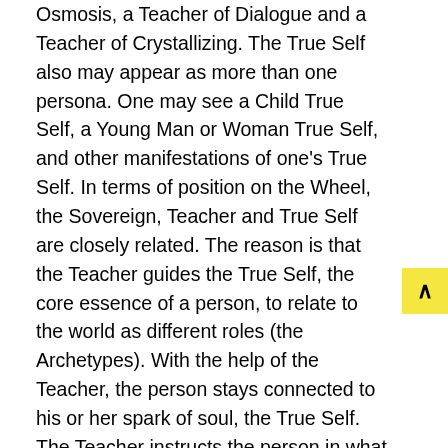Osmosis, a Teacher of Dialogue and a Teacher of Crystallizing. The True Self also may appear as more than one persona. One may see a Child True Self, a Young Man or Woman True Self, and other manifestations of one's True Self. In terms of position on the Wheel, the Sovereign, Teacher and True Self are closely related. The reason is that the Teacher guides the True Self, the core essence of a person, to relate to the world as different roles (the Archetypes). With the help of the Teacher, the person stays connected to his or her spark of soul, the True Self. The Teacher instructs the person in what he or she most needs to learn, bringing forth his or her essence and talents to develop fully into the Sovereign, the mature leader, who both serves and is honored by the community.